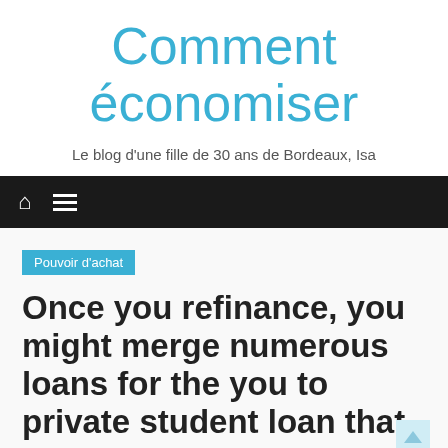Comment économiser
Le blog d'une fille de 30 ans de Bordeaux, Isa
🏠 ≡
Pouvoir d'achat
Once you refinance, you might merge numerous loans for the you to private student loan that